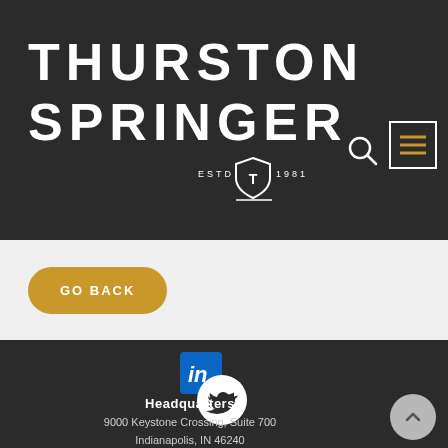[Figure (logo): Thurston Springer logo with shield emblem, ESTD 1981, on dark background header]
[Figure (screenshot): GO BACK button in gold/amber rounded rectangle]
[Figure (logo): LinkedIn logo icon]
[Figure (logo): Twitter bird icon in white circle]
Headquarters
9000 Keystone Crossing, Suite 700
Indianapolis, IN 46240